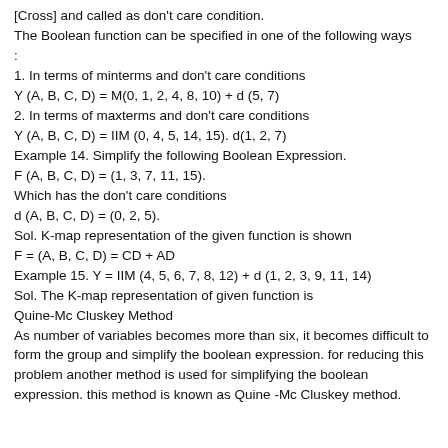[Cross] and called as don't care condition.
The Boolean function can be specified in one of the following ways :
1. In terms of minterms and don't care conditions
Y (A, B, C, D) = M(0, 1, 2, 4, 8, 10) + d (5, 7)
2. In terms of maxterms and don't care conditions
Y (A, B, C, D) = IIM (0, 4, 5, 14, 15). d(1, 2, 7)
Example 14. Simplify the following Boolean Expression.
F (A, B, C, D) = (1, 3, 7, 11, 15).
Which has the don't care conditions
d (A, B, C, D) = (0, 2, 5).
Sol. K-map representation of the given function is shown
F = (A, B, C, D) = CD + AD
Example 15. Y = IIM (4, 5, 6, 7, 8, 12) + d (1, 2, 3, 9, 11, 14)
Sol. The K-map representation of given function is
Quine-Mc Cluskey Method
As number of variables becomes more than six, it becomes difficult to form the group and simplify the boolean expression. for reducing this problem another method is used for simplifying the boolean expression. this method is known as Quine -Mc Cluskey method.